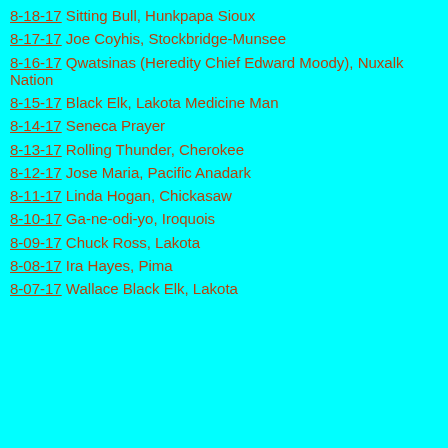8-18-17 Sitting Bull, Hunkpapa Sioux
8-17-17 Joe Coyhis, Stockbridge-Munsee
8-16-17 Qwatsinas (Heredity Chief Edward Moody), Nuxalk Nation
8-15-17 Black Elk, Lakota Medicine Man
8-14-17 Seneca Prayer
8-13-17 Rolling Thunder, Cherokee
8-12-17 Jose Maria, Pacific Anadark
8-11-17 Linda Hogan, Chickasaw
8-10-17 Ga-ne-odi-yo, Iroquois
8-09-17 Chuck Ross, Lakota
8-08-17 Ira Hayes, Pima
8-07-17 Wallace Black Elk, Lakota